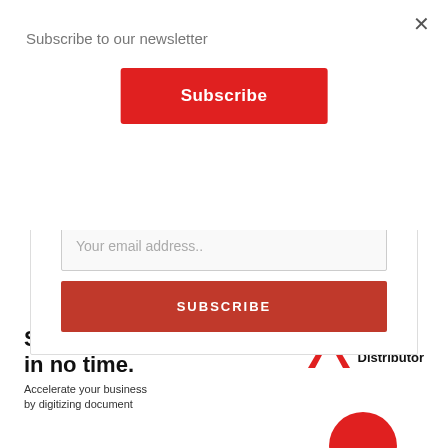Subscribe to our newsletter
Subscribe
×
morning.
Your email address..
SUBSCRIBE
Send and sign in no time.
Accelerate your business by digitizing document
[Figure (logo): Adobe Distributor logo — red 'A' chevron with text 'Adobe Distributor']